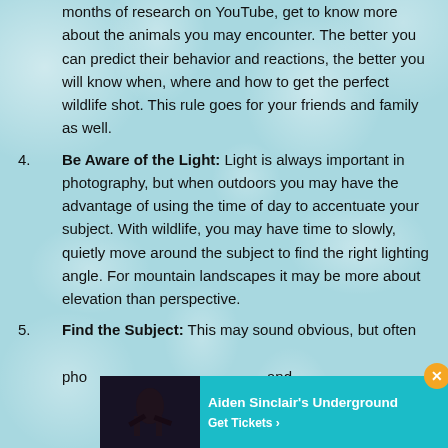months of research on YouTube, get to know more about the animals you may encounter. The better you can predict their behavior and reactions, the better you will know when, where and how to get the perfect wildlife shot. This rule goes for your friends and family as well.
4. Be Aware of the Light: Light is always important in photography, but when outdoors you may have the advantage of using the time of day to accentuate your subject. With wildlife, you may have time to slowly, quietly move around the subject to find the right lighting angle. For mountain landscapes it may be more about elevation than perspective.
5. Find the Subject: This may sound obvious, but often... pho... and
[Figure (other): Advertisement overlay for 'Aiden Sinclair's Underground' with a Get Tickets link, showing a dark image of a performer on the left and teal background with white text on the right. A close button (X) appears in the top right corner.]